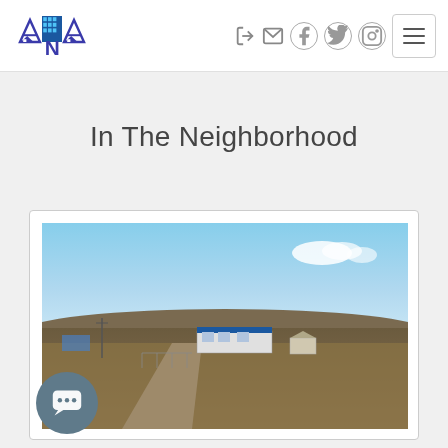[Figure (logo): ANA real estate logo with building and house icons]
[Figure (other): Navigation icons: login, mail, Facebook, Twitter, Instagram; hamburger menu button]
In The Neighborhood
[Figure (photo): Aerial/wide view photograph of a rural neighborhood with open land, a dirt road, small buildings including a mobile home, under a blue sky with light clouds]
[Figure (other): Chat bubble widget icon with three dots, in a dark teal circular button]